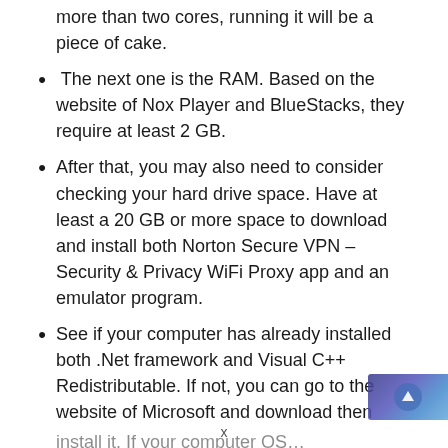more than two cores, running it will be a piece of cake.
The next one is the RAM. Based on the website of Nox Player and BlueStacks, they require at least 2 GB.
After that, you may also need to consider checking your hard drive space. Have at least a 20 GB or more space to download and install both Norton Secure VPN – Security & Privacy WiFi Proxy app and an emulator program.
See if your computer has already installed both .Net framework and Visual C++ Redistributable. If not, you can go to the website of Microsoft and download then install it. If your computer OS…